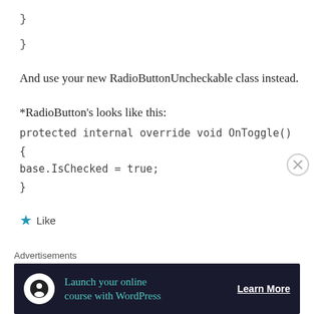} }
And use your new RadioButtonUncheckable class instead.
*RadioButton's looks like this:
protected internal override void OnToggle()
{
base.IsChecked = true;
}
Like
Advertisements
[Figure (other): Advertisement banner: dark background with circular icon, teal text 'Launch your online course with WordPress' and 'Learn More' button]